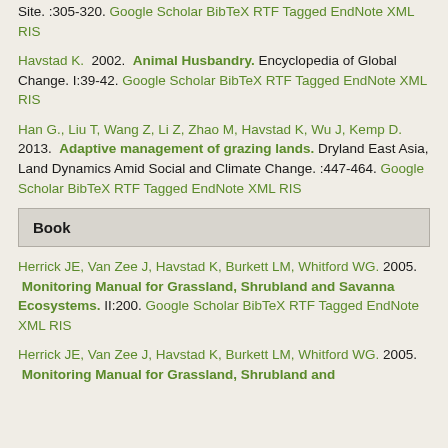Site. :305-320. Google Scholar BibTeX RTF Tagged EndNote XML RIS
Havstad K.  2002.  Animal Husbandry. Encyclopedia of Global Change. I:39-42. Google Scholar BibTeX RTF Tagged EndNote XML RIS
Han G., Liu T, Wang Z, Li Z, Zhao M, Havstad K, Wu J, Kemp D.  2013.  Adaptive management of grazing lands. Dryland East Asia, Land Dynamics Amid Social and Climate Change. :447-464. Google Scholar BibTeX RTF Tagged EndNote XML RIS
Book
Herrick JE, Van Zee J, Havstad K, Burkett LM, Whitford WG.  2005.  Monitoring Manual for Grassland, Shrubland and Savanna Ecosystems. II:200. Google Scholar BibTeX RTF Tagged EndNote XML RIS
Herrick JE, Van Zee J, Havstad K, Burkett LM, Whitford WG.  2005.  Monitoring Manual for Grassland, Shrubland and Savanna Ecosystems.